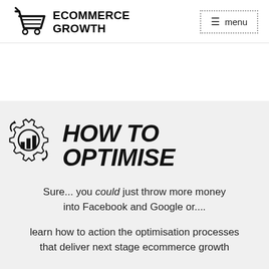[Figure (logo): Ecommerce Growth logo with shopping cart icon and bold text reading ECOMMERCE GROWTH]
[Figure (illustration): Menu button with dotted border showing hamburger icon and text 'menu']
[Figure (illustration): Gear/cog icon with bar chart inside and arrows, next to bold italic text 'HOW TO OPTIMISE']
Sure... you could just throw more money into Facebook and Google or....
learn how to action the optimisation processes that deliver next stage ecommerce growth